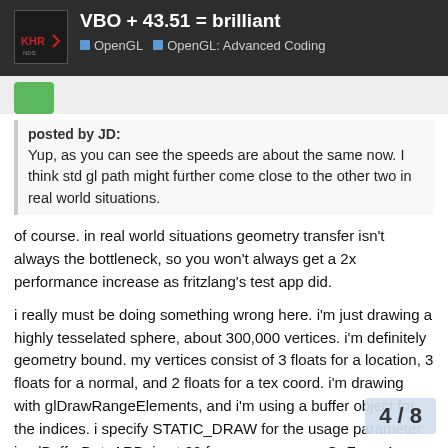VBO + 43.51 = brilliant
OpenGL  OpenGL: Advanced Coding
posted by JD:
Yup, as you can see the speeds are about the same now. I think std gl path might further come close to the other two in real world situations.
of course. in real world situations geometry transfer isn't always the bottleneck, so you won't always get a 2x performance increase as fritzlang's test app did.
i really must be doing something wrong here. i'm just drawing a highly tesselated sphere, about 300,000 vertices. i'm definitely geometry bound. my vertices consist of 3 floats for a location, 3 floats for a normal, and 2 floats for a tex coord. i'm drawing with glDrawRangeElements, and i'm using a buffer object for the indices. i specify STATIC_DRAW for the usage parameter in glBufferDataARB. i get 20 frames or so on a GeForce4 ti4400 with the 43.51 drivers, both with standard v... who. that's actually a slight drop from the 4...
4 / 8